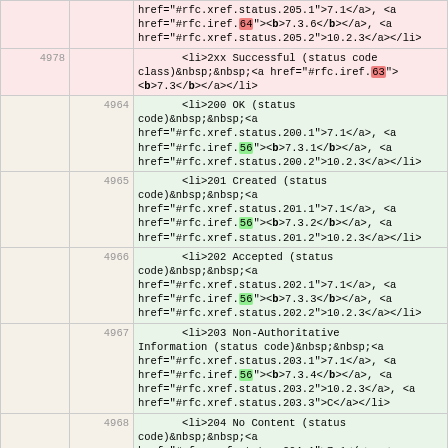| col-a | col-b | content |
| --- | --- | --- |
|  |  | href="#rfc.xref.status.205.1">7.1</a>, <a href="#rfc.iref.64"><b>7.3.6</b></a>, <a href="#rfc.xref.status.205.2">10.2.3</a></li> |
| 4978 |  | <li>2xx Successful (status code class)&nbsp;&nbsp;<a href="#rfc.iref.63"><b>7.3</b></a></li> |
|  | 4964 | <li>200 OK (status code)&nbsp;&nbsp;<a href="#rfc.xref.status.200.1">7.1</a>, <a href="#rfc.iref.56"><b>7.3.1</b></a>, <a href="#rfc.xref.status.200.2">10.2.3</a></li> |
|  | 4965 | <li>201 Created (status code)&nbsp;&nbsp;<a href="#rfc.xref.status.201.1">7.1</a>, <a href="#rfc.iref.56"><b>7.3.2</b></a>, <a href="#rfc.xref.status.201.2">10.2.3</a></li> |
|  | 4966 | <li>202 Accepted (status code)&nbsp;&nbsp;<a href="#rfc.xref.status.202.1">7.1</a>, <a href="#rfc.iref.56"><b>7.3.3</b></a>, <a href="#rfc.xref.status.202.2">10.2.3</a></li> |
|  | 4967 | <li>203 Non-Authoritative Information (status code)&nbsp;&nbsp;<a href="#rfc.xref.status.203.1">7.1</a>, <a href="#rfc.iref.56"><b>7.3.4</b></a>, <a href="#rfc.xref.status.203.2">10.2.3</a>, <a href="#rfc.xref.status.203.3">C</a></li> |
|  | 4968 | <li>204 No Content (status code)&nbsp;&nbsp;<a href="#rfc.xref.status.204.1">7.1</a>, <a href="#rfc.iref.56"><b>7.3.5</b></a>, <a href="#rfc.xref.status.204.2">10.2.3</a></li> |
|  | 4969 | <li>205 Reset Content (status code)&nbsp;&nbsp;<a href="#rfc.xref.status.205.1">7.1</a>, <a href="#rfc.iref.56"><b>7.3.6</b></a>, <a href="#rfc.xref.status.205.2">10.2.3</a></li> |